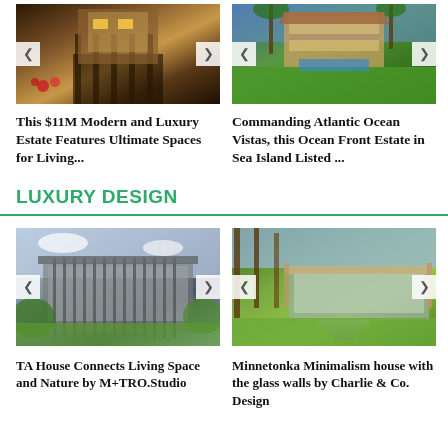[Figure (photo): Modern luxury estate with gate, warm lighting, red flowers]
[Figure (photo): Ocean front estate with palm trees and green lawn]
This $11M Modern and Luxury Estate Features Ultimate Spaces for Living...
Commanding Atlantic Ocean Vistas, this Ocean Front Estate in Sea Island Listed ...
LUXURY DESIGN
[Figure (photo): TA House with vertical slat facade and lush greenery]
[Figure (photo): Minnetonka minimalism house with glass walls and stepped path]
TA House Connects Living Space and Nature by M+TRO.Studio
Minnetonka Minimalism house with the glass walls by Charlie & Co. Design